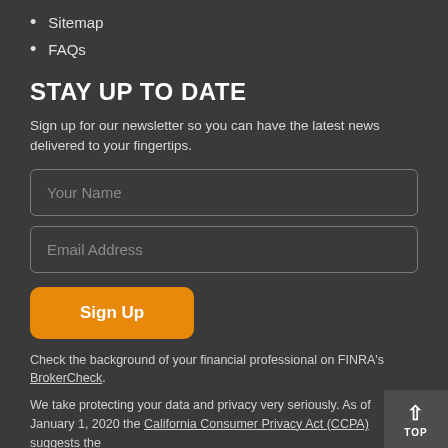Sitemap
FAQs
STAY UP TO DATE
Sign up for our newsletter so you can have the latest news delivered to your fingertips.
Your Name
Email Address
Sign Up
Check the background of your financial professional on FINRA's BrokerCheck.
We take protecting your data and privacy very seriously. As of January 1, 2020 the California Consumer Privacy Act (CCPA) suggests the